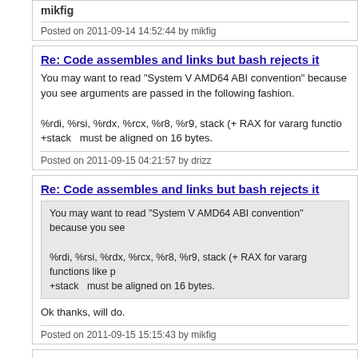mikfig
Posted on 2011-09-14 14:52:44 by mikfig
Re: Code assembles and links but bash rejects it
You may want to read "System V AMD64 ABI convention" because you see arguments are passed in the following fashion.

%rdi, %rsi, %rdx, %rcx, %r8, %r9, stack (+ RAX for vararg functions like printf)
+stack  must be aligned on 16 bytes.
Posted on 2011-09-15 04:21:57 by drizz
Re: Code assembles and links but bash rejects it
You may want to read "System V AMD64 ABI convention" because you see
%rdi, %rsi, %rdx, %rcx, %r8, %r9, stack (+ RAX for vararg functions like p
+stack  must be aligned on 16 bytes.
Ok thanks, will do.
Posted on 2011-09-15 15:15:43 by mikfig
Re: Code assembles and links but bash rejects it